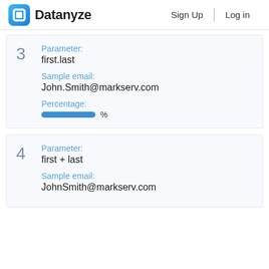Datanyze   Sign Up   Log in
3
Parameter:
first.last
Sample email:
John.Smith@markserv.com
Percentage:
%
4
Parameter:
first + last
Sample email:
JohnSmith@markserv.com